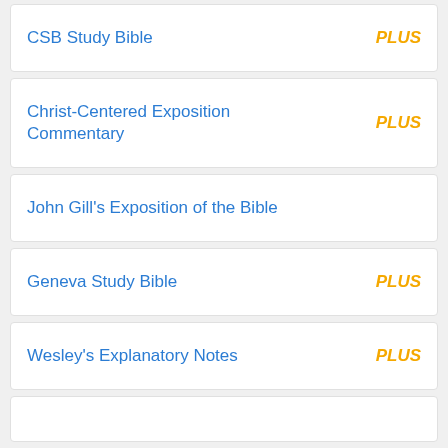CSB Study Bible  PLUS
Christ-Centered Exposition Commentary  PLUS
John Gill's Exposition of the Bible
Geneva Study Bible  PLUS
Wesley's Explanatory Notes  PLUS
Holy Bible, New International Reader's Version® Copyright © 1995, 1996, 1998 by Biblica.   All rights reserved worldwide.